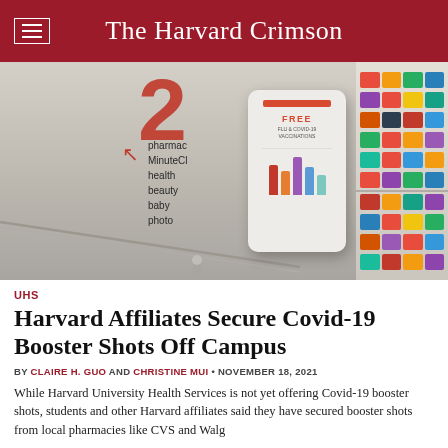The Harvard Crimson
[Figure (photo): Interior of a CVS pharmacy showing a free flu and COVID-19 test kiosk display, with pharmacy wayfinding signs showing 'pharmacy, MinuteClinic, health, beauty, baby, photo' and colorful product shelves in the background.]
UHS
Harvard Affiliates Secure Covid-19 Booster Shots Off Campus
BY CLAIRE H. GUO AND CHRISTINE MUI • NOVEMBER 18, 2021
While Harvard University Health Services is not yet offering Covid-19 booster shots, students and other Harvard affiliates said they have secured booster shots from local pharmacies like CVS and Walgreens.